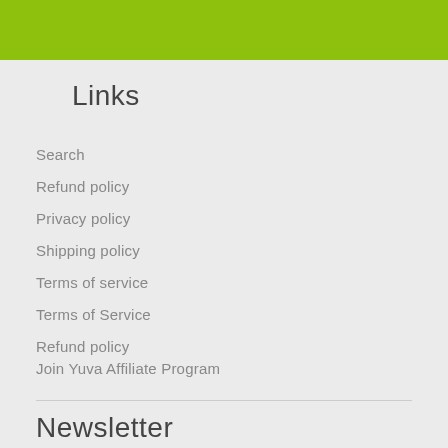[Figure (other): Green header bar at top of page]
Links
Search
Refund policy
Privacy policy
Shipping policy
Terms of service
Terms of Service
Refund policy
Join Yuva Affiliate Program
Newsletter